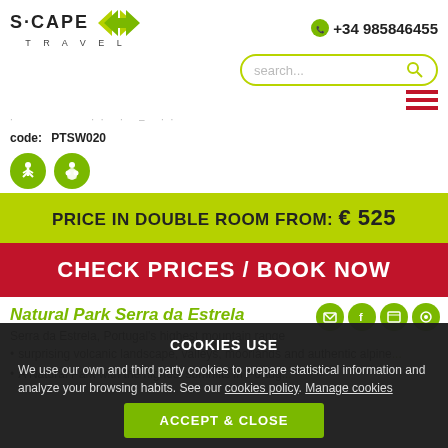[Figure (logo): S·CAPE TRAVEL logo with green arrows]
+34 985846455
[Figure (other): Search bar with magnifying glass icon]
[Figure (other): Hamburger menu icon (three red bars)]
code:    PTSW020
[Figure (other): Two green circular activity icons (hiker and person)]
PRICE IN DOUBLE ROOM FROM: € 525
CHECK PRICES / BOOK NOW
Natural Park Serra da Estrela
[Figure (other): Four green social media icons: email, facebook, print, rss]
Serra da Estrela, Portugal's highest mountain range
surprising volcanic landscape, valleys, moorlands and authentic alpine...
A Natural Park with the highest summits in Portug...
COOKIES USE
We use our own and third party cookies to prepare statistical information and analyze your browsing habits. See our cookies policy. Manage cookies
ACCEPT & CLOSE